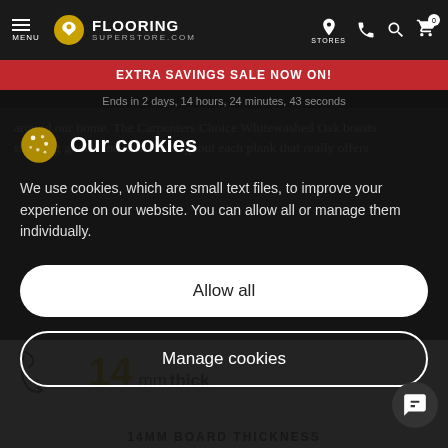MENU | FLOORING SUPERSTORE.COM | STORES | [icons]
EXTRA SAVINGS SALE NOW ON!
Ends in 2 days, 14 hours, 24 minutes, 43 seconds
around our home. The Carpenters Choice Whitewashed Oak boasts stunning grains and knots throughout each plank that really offers
Our cookies
We use cookies, which are small text files, to improve your experience on our website. You can allow all or manage them individually.
Allow all
Manage cookies
14 mm thick
14MM BOARD THICKNESS